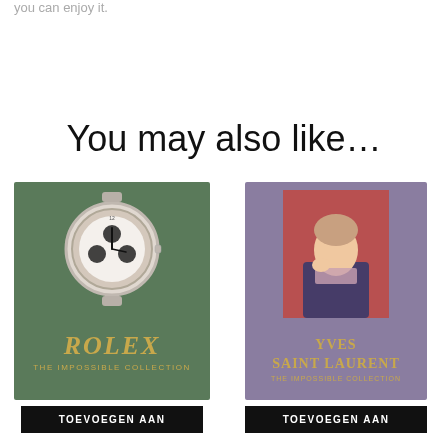you can enjoy it.
You may also like…
[Figure (photo): Book cover: Rolex The Impossible Collection — green cover with a Rolex watch face in the center and gold text]
TOEVOEGEN AAN
[Figure (photo): Book cover: Yves Saint Laurent The Impossible Collection — purple cover with a portrait illustration in red background and gold text]
TOEVOEGEN AAN